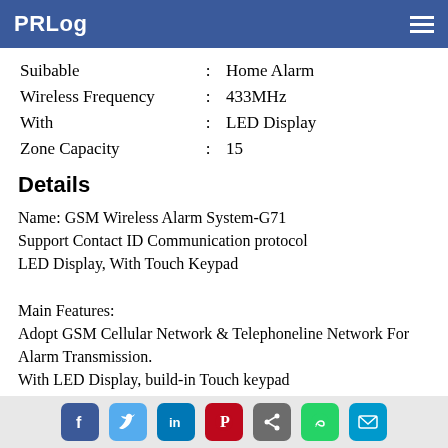PRLog
| Suibable | : | Home Alarm |
| Wireless Frequency | : | 433MHz |
| With | : | LED Display |
| Zone Capacity | : | 15 |
Details
Name: GSM Wireless Alarm System-G71
Support Contact ID Communication protocol
LED Display, With Touch Keypad

Main Features:
Adopt GSM Cellular Network & Telephoneline Network For Alarm Transmission.
With LED Display, build-in Touch keypad
Compatible with GSM network, reports alarm events by calling and SMS.
Use SIM card,up to 6 phone numbers(2 for management center, 4 for personal) can be pre-stored and then dial in sequence when alarming. Each number can be set as phone call alarm or SMS.
Social share icons: Facebook, Twitter, LinkedIn, Pinterest, Share, WhatsApp, Email